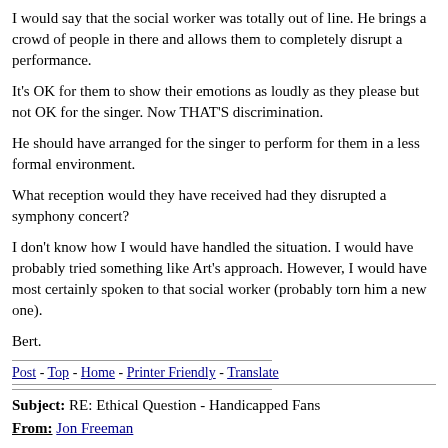I would say that the social worker was totally out of line. He brings a crowd of people in there and allows them to completely disrupt a performance.
It's OK for them to show their emotions as loudly as they please but not OK for the singer. Now THAT'S discrimination.
He should have arranged for the singer to perform for them in a less formal environment.
What reception would they have received had they disrupted a symphony concert?
I don't know how I would have handled the situation. I would have probably tried something like Art's approach. However, I would have most certainly spoken to that social worker (probably torn him a new one).
Bert.
Post - Top - Home - Printer Friendly - Translate
Subject: RE: Ethical Question - Handicapped Fans
From: Jon Freeman